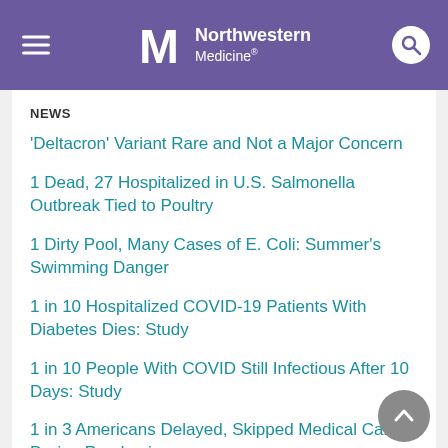Northwestern Medicine
NEWS
'Deltacron' Variant Rare and Not a Major Concern
1 Dead, 27 Hospitalized in U.S. Salmonella Outbreak Tied to Poultry
1 Dirty Pool, Many Cases of E. Coli: Summer's Swimming Danger
1 in 10 Hospitalized COVID-19 Patients With Diabetes Dies: Study
1 in 10 People With COVID Still Infectious After 10 Days: Study
1 in 3 Americans Delayed, Skipped Medical Care During Pandemic